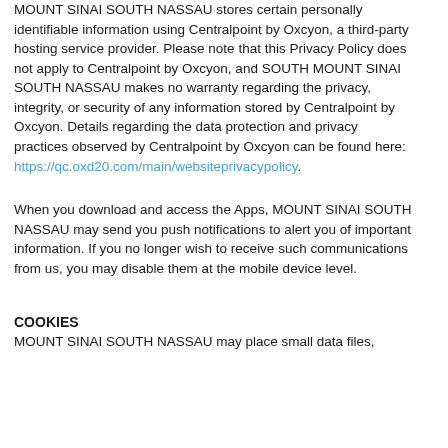MOUNT SINAI SOUTH NASSAU stores certain personally identifiable information using Centralpoint by Oxcyon, a third-party hosting service provider. Please note that this Privacy Policy does not apply to Centralpoint by Oxcyon, and SOUTH MOUNT SINAI SOUTH NASSAU makes no warranty regarding the privacy, integrity, or security of any information stored by Centralpoint by Oxcyon. Details regarding the data protection and privacy practices observed by Centralpoint by Oxcyon can be found here: https://qc.oxd20.com/main/websiteprivacypolicy.
When you download and access the Apps, MOUNT SINAI SOUTH NASSAU may send you push notifications to alert you of important information. If you no longer wish to receive such communications from us, you may disable them at the mobile device level.
COOKIES
MOUNT SINAI SOUTH NASSAU may place small data files,